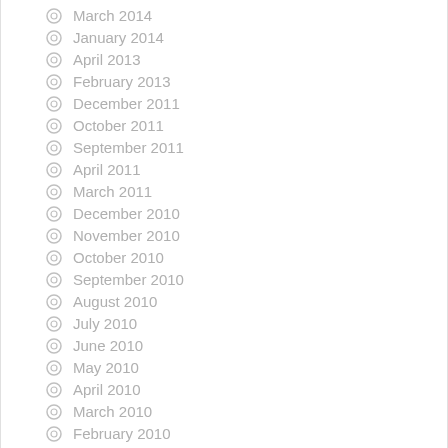March 2014
January 2014
April 2013
February 2013
December 2011
October 2011
September 2011
April 2011
March 2011
December 2010
November 2010
October 2010
September 2010
August 2010
July 2010
June 2010
May 2010
April 2010
March 2010
February 2010
January 2010